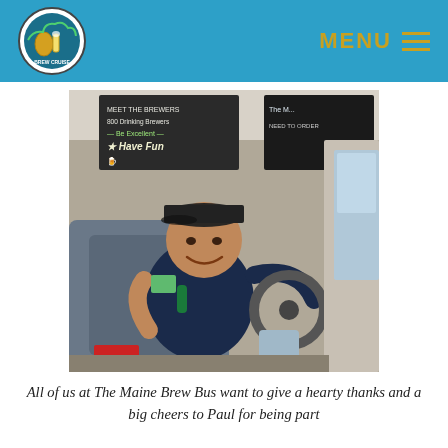MENU
[Figure (photo): A man sitting in the driver's seat of a bus (The Maine Brew Bus), smiling at the camera. He is wearing a dark cap and t-shirt with shorts. A chalkboard sign is visible in the background with text including 'Have Fun'. The interior of the bus is visible.]
All of us at The Maine Brew Bus want to give a hearty thanks and a big cheers to Paul for being part